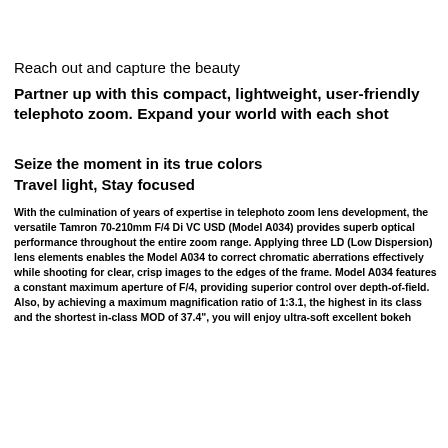Reach out and capture the beauty
Partner up with this compact, lightweight, user-friendly telephoto zoom. Expand your world with each shot
Seize the moment in its true colors
Travel light, Stay focused
With the culmination of years of expertise in telephoto zoom lens development, the versatile Tamron 70-210mm F/4 Di VC USD (Model A034) provides superb optical performance throughout the entire zoom range. Applying three LD (Low Dispersion) lens elements enables the Model A034 to correct chromatic aberrations effectively while shooting for clear, crisp images to the edges of the frame. Model A034 features a constant maximum aperture of F/4, providing superior control over depth-of-field. Also, by achieving a maximum magnification ratio of 1:3.1, the highest in its class and the shortest in-class MOD of 37.4", you will enjoy ultra-soft excellent bokeh